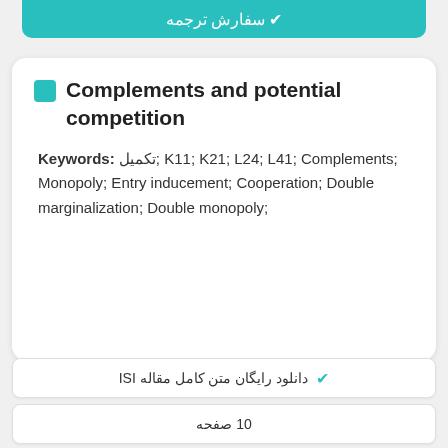[Figure (other): Teal banner button with Persian text (سفارش ترجمه) at top]
Complements and potential competition
Keywords: تکمیل; K11; K21; L24; L41; Complements; Monopoly; Entry inducement; Cooperation; Double marginalization; Double monopoly;
✔ دانلود رایگان متن کامل مقاله ISI
10 صفحه